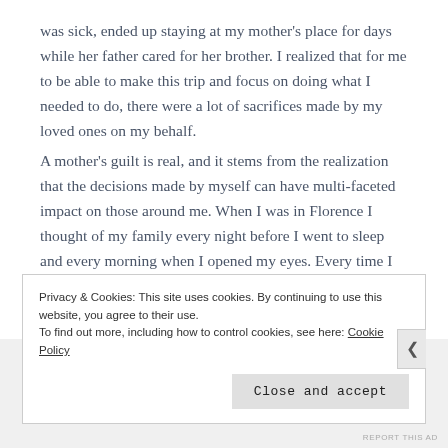was sick, ended up staying at my mother's place for days while her father cared for her brother. I realized that for me to be able to make this trip and focus on doing what I needed to do, there were a lot of sacrifices made by my loved ones on my behalf. A mother's guilt is real, and it stems from the realization that the decisions made by myself can have multi-faceted impact on those around me. When I was in Florence I thought of my family every night before I went to sleep and every morning when I opened my eyes. Every time I was starting to savour Florence I felt guilt for being the only one in my family who had the opportunity to do so.
Privacy & Cookies: This site uses cookies. By continuing to use this website, you agree to their use.
To find out more, including how to control cookies, see here: Cookie Policy
Close and accept